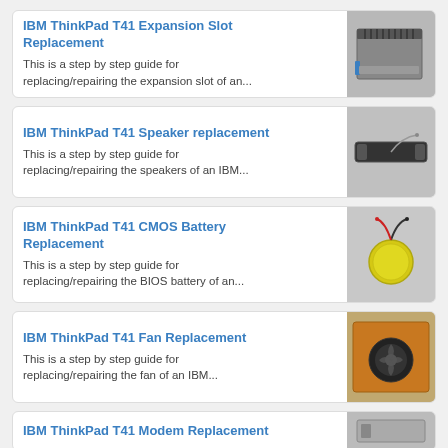IBM ThinkPad T41 Expansion Slot Replacement
This is a step by step guide for replacing/repairing the expansion slot of an...
[Figure (photo): Photo of IBM ThinkPad T41 expansion slot hardware component]
IBM ThinkPad T41 Speaker replacement
This is a step by step guide for replacing/repairing the speakers of an IBM...
[Figure (photo): Photo of IBM ThinkPad T41 speaker bar component]
IBM ThinkPad T41 CMOS Battery Replacement
This is a step by step guide for replacing/repairing the BIOS battery of an...
[Figure (photo): Photo of IBM ThinkPad T41 CMOS battery (yellow coin cell with wires)]
IBM ThinkPad T41 Fan Replacement
This is a step by step guide for replacing/repairing the fan of an IBM...
[Figure (photo): Photo of IBM ThinkPad T41 fan (orange/brown circuit board fan assembly)]
IBM ThinkPad T41 Modem Replacement
[Figure (photo): Photo of IBM ThinkPad T41 modem component]